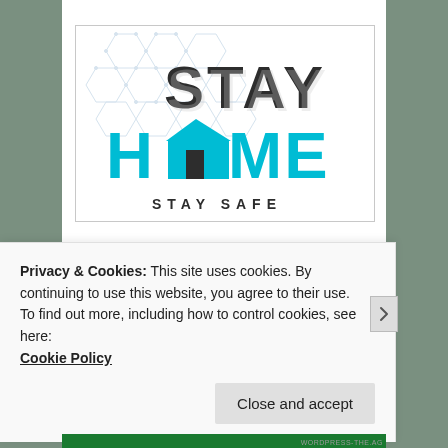[Figure (illustration): Stay Home Stay Safe graphic with large bold STAY text in dark charcoal, HOME text in teal/cyan with a house icon replacing the O, STAY SAFE subtitle in dark bold text, and hexagonal network pattern background on white.]
Privacy & Cookies: This site uses cookies. By continuing to use this website, you agree to their use.
To find out more, including how to control cookies, see here:
Cookie Policy
Close and accept